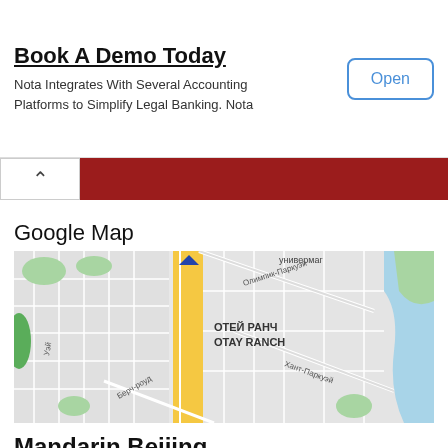Book A Demo Today
Nota Integrates With Several Accounting Platforms to Simplify Legal Banking. Nota
Open
[Figure (map): Google Map showing Otay Ranch area in Chula Vista, CA with Russian language labels: универмаг, Олимпик-Паркуэй, ОТЕЙ РАНЧ / OTAY RANCH, Берч-роуд, Уэй, Хант-Паркуэй. Yellow highway runs vertically through center. Green park areas visible. Blue water area at right.]
Google Map
Mandarin Beijing
2130 Birch Rd Ste 101
Chula Vista, CA 91915
(619) 656-3888
Restaurant Hours